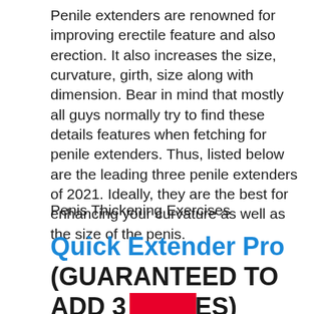Penile extenders are renowned for improving erectile feature and also erection. It also increases the size, curvature, girth, size along with dimension. Bear in mind that mostly all guys normally try to find these details features when fetching for penile extenders. Thus, listed below are the leading three penile extenders of 2021. Ideally, they are the best for enhancing your curvature as well as the size of the penis.
Penis Thickening Exercises
Quick Extender Pro (GUARANTEED TO ADD 3 INCHES)